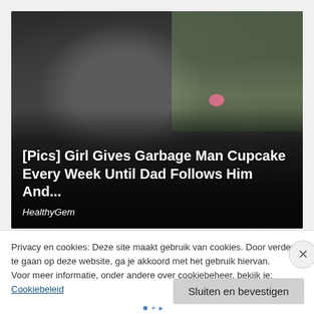[Figure (photo): Photo of a man wearing sunglasses and a black cap smiling, with a child beside him who has a pink accessory near her mouth, inside a vehicle with outdoor greenery visible in the background. Dark gradient overlay covers lower portion.]
[Pics] Girl Gives Garbage Man Cupcake Every Week Until Dad Follows Him And...
HealthyGem
Privacy en cookies: Deze site maakt gebruik van cookies. Door verder te gaan op deze website, ga je akkoord met het gebruik hiervan.
Voor meer informatie, onder andere over cookiebeheer, bekijk je:
Cookiebeleid
Sluiten en bevestigen